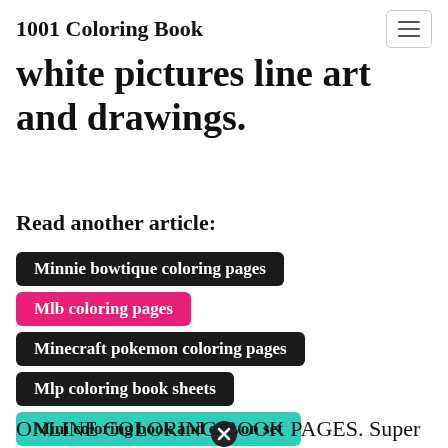1001 Coloring Book
white pictures line art and drawings.
Read another article:
Minnie bowtique coloring pages
Mlb coloring pages
Minecraft pokemon coloring pages
Mlp coloring book sheets
Mini coloring book and crayon set
ONLINE COLORING BOOK PAGES. Super